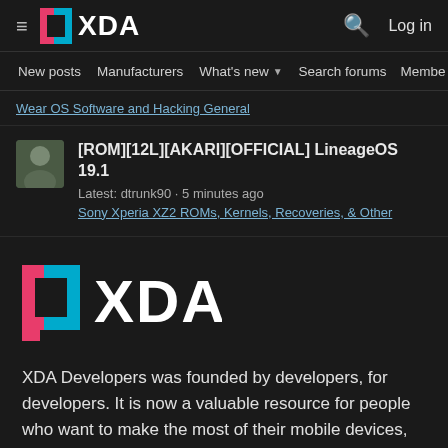XDA Developers — navigation bar with hamburger menu, XDA logo, search icon, Log in
New posts  Manufacturers  What's new  Search forums  Membe  >
Wear OS Software and Hacking General
[ROM][12L][AKARI][OFFICIAL] LineageOS 19.1
Latest: dtrunk90 · 5 minutes ago
Sony Xperia XZ2 ROMs, Kernels, Recoveries, & Other
[Figure (logo): XDA Developers logo — large version with pink/red left bracket, cyan right bracket, white XDA text]
XDA Developers was founded by developers, for developers. It is now a valuable resource for people who want to make the most of their mobile devices, from customizing the look and feel to adding new functionality.